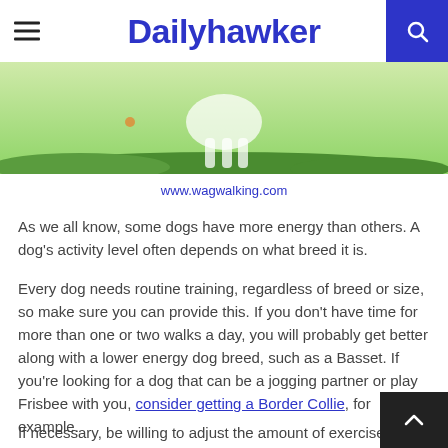Dailyhawker
[Figure (photo): Dog running on green grass field, partial crop showing legs and lower body]
www.wagwalking.com
As we all know, some dogs have more energy than others. A dog's activity level often depends on what breed it is.
Every dog needs routine training, regardless of breed or size, so make sure you can provide this. If you don't have time for more than one or two walks a day, you will probably get better along with a lower energy dog breed, such as a Basset. If you're looking for a dog that can be a jogging partner or play Frisbee with you, consider getting a Border Collie, for example.
If necessary, be willing to adjust the amount of exercise